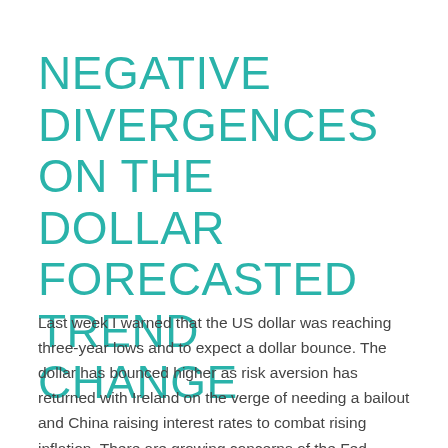NEGATIVE DIVERGENCES ON THE DOLLAR FORECASTED TREND CHANGE
Last week I warned that the US dollar was reaching three-year lows and to expect a dollar bounce. The dollar has bounced higher as risk aversion has returned with Ireland on the verge of needing a bailout and China raising interest rates to combat rising inflation. There are growing concerns of the Fed needing to…